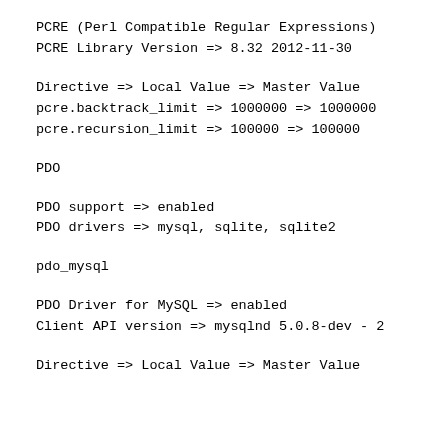PCRE (Perl Compatible Regular Expressions)
PCRE Library Version => 8.32 2012-11-30
Directive => Local Value => Master Value
pcre.backtrack_limit => 1000000 => 1000000
pcre.recursion_limit => 100000 => 100000
PDO
PDO support => enabled
PDO drivers => mysql, sqlite, sqlite2
pdo_mysql
PDO Driver for MySQL => enabled
Client API version => mysqlnd 5.0.8-dev - 2
Directive => Local Value => Master Value